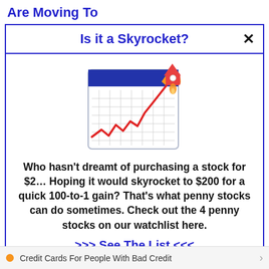Are Moving To
Is it a Skyrocket?
[Figure (illustration): A stock chart icon showing a zigzag red line trending sharply upward on a grid/calendar-style background, with a rocket in the upper right corner launching upward]
Who hasn't dreamt of purchasing a stock for $2… Hoping it would skyrocket to $200 for a quick 100-to-1 gain? That's what penny stocks can do sometimes. Check out the 4 penny stocks on our watchlist here.
>>> See The List <<<
Credit Cards For People With Bad Credit